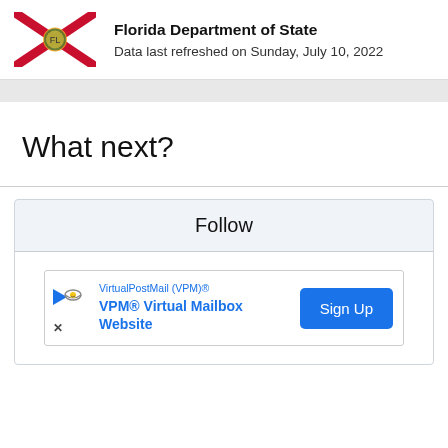Florida Department of State
Data last refreshed on Sunday, July 10, 2022
What next?
Follow
[Figure (other): Advertisement for VirtualPostMail (VPM)® — VPM® Virtual Mailbox Website with a Sign Up button]
VirtualPostMail (VPM)®
VPM® Virtual Mailbox Website